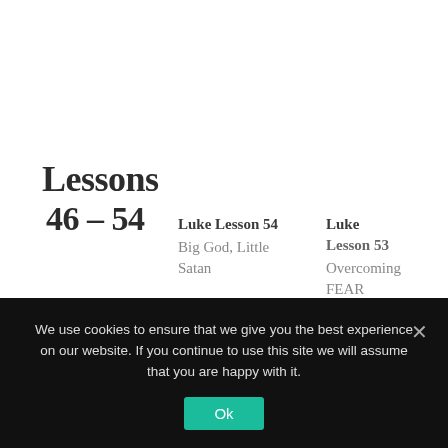Lessons 46 – 54
Luke Lesson 54
Big God, Little Satan
Luke Lesson 53
Overcoming FEAR
Luke Lesson 52
What's in YOUR H…
We use cookies to ensure that we give you the best experience on our website. If you continue to use this site we will assume that you are happy with it.
Ok